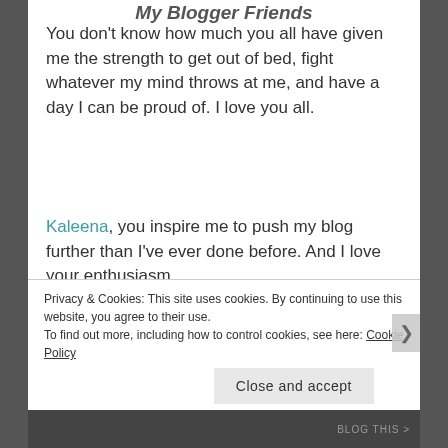My Blogger Friends
You don't know how much you all have given me the strength to get out of bed, fight whatever my mind throws at me, and have a day I can be proud of. I love you all.
Kaleena, you inspire me to push my blog further than I've ever done before. And I love your enthusiasm.
Kathy, you make me smile every time I see your posts or comments. You offer refreshing perspectives and give me a reason to keep fighting.
Privacy & Cookies: This site uses cookies. By continuing to use this website, you agree to their use.
To find out more, including how to control cookies, see here: Cookie Policy
Close and accept